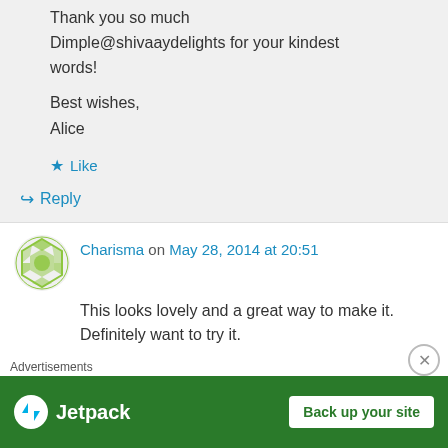Thank you so much Dimple@shivaaydelights for your kindest words!
Best wishes,
Alice
★ Like
↳ Reply
Charisma on May 28, 2014 at 20:51
This looks lovely and a great way to make it. Definitely want to try it.
★ Like
Advertisements
[Figure (other): Jetpack advertisement banner with green background showing Jetpack logo and 'Back up your site' button]